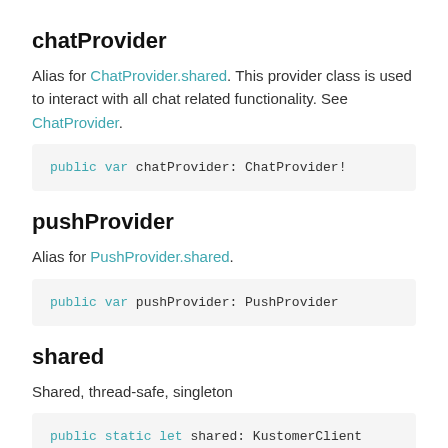chatProvider
Alias for ChatProvider.shared. This provider class is used to interact with all chat related functionality. See ChatProvider.
public var chatProvider: ChatProvider!
pushProvider
Alias for PushProvider.shared.
public var pushProvider: PushProvider
shared
Shared, thread-safe, singleton
public static let shared: KustomerClient